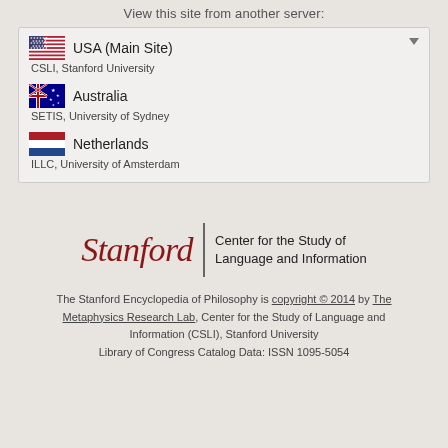View this site from another server:
USA (Main Site)
CSLI, Stanford University
Australia
SETIS, University of Sydney
Netherlands
ILLC, University of Amsterdam
[Figure (logo): Stanford | Center for the Study of Language and Information logo]
The Stanford Encyclopedia of Philosophy is copyright © 2014 by The Metaphysics Research Lab, Center for the Study of Language and Information (CSLI), Stanford University
Library of Congress Catalog Data: ISSN 1095-5054